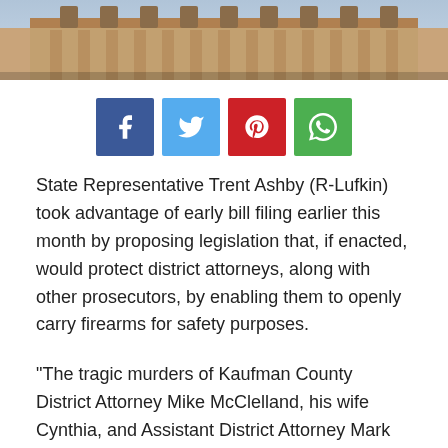[Figure (photo): Exterior photograph of a stone government building (Texas State Capitol) with ornate facade]
[Figure (infographic): Social share buttons: Facebook (blue), Twitter (light blue), Pinterest (red), WhatsApp (green)]
State Representative Trent Ashby (R-Lufkin) took advantage of early bill filing earlier this month by proposing legislation that, if enacted, would protect district attorneys, along with other prosecutors, by enabling them to openly carry firearms for safety purposes.
“The tragic murders of Kaufman County District Attorney Mike McClelland, his wife Cynthia, and Assistant District Attorney Mark Hasse shook up the entire state last year,” Rep. Ashby said. “It’s our responsibility to ensure we take every measure possible to protect these brave men and women who, like our